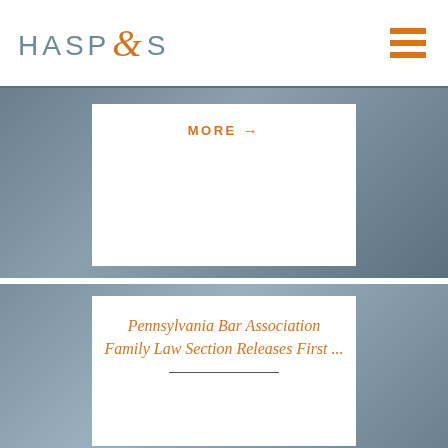HASP & S
MORE →
Pennsylvania Bar Association Family Law Section Releases First ...